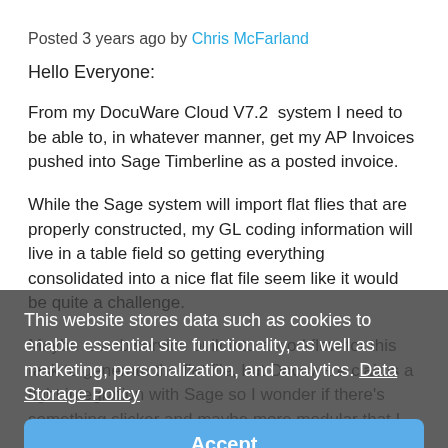Posted 3 years ago by Chris McFarland
Hello Everyone:
From my DocuWare Cloud V7.2  system I need to be able to, in whatever manner, get my AP Invoices pushed into Sage Timberline as a posted invoice.
While the Sage system will import flat flies that are properly constructed, my GL coding information will live in a table field so getting everything consolidated into a nice flat file seem like it would be quite a challenge.
Maybe a web service built into a workflow for this task to generate the flat file, but Docuware claims a tight integration with Sage so I wonder if there's something slicker and maybe more modular that I could put together. I really can't find anything that gives specifics on what this tight integration is.
What do you think?
This website stores data such as cookies to enable essential site functionality, as well as marketing, personalization, and analytics. Data Storage Policy
Accept
Deny